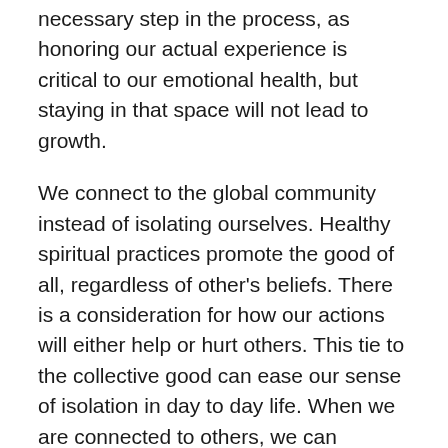necessary step in the process, as honoring our actual experience is critical to our emotional health, but staying in that space will not lead to growth.
We connect to the global community instead of isolating ourselves. Healthy spiritual practices promote the good of all, regardless of other's beliefs. There is a consideration for how our actions will either help or hurt others. This tie to the collective good can ease our sense of isolation in day to day life. When we are connected to others, we can develop or grow our emotional health.
Many spiritual practices encourage prayer or meditation. These can help calm the mind and relax the body which promotes healing and releases stress and tension. Relaxed muscles promote healthy blood flow throughout the body. Blood carries nutrients as well as aides in the